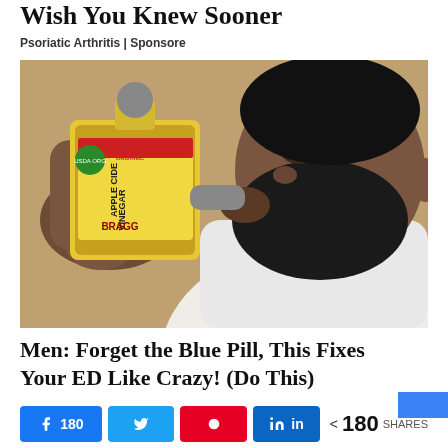Wish You Knew Sooner
Psoriatic Arthritis | Sponsore
[Figure (photo): Man drinking from a large bottle of Bragg Organic Apple Cider Vinegar]
Men: Forget the Blue Pill, This Fixes Your ED Like Crazy! (Do This)
< 180 SHARES — Facebook 180, Twitter, Pinterest, LinkedIn share buttons